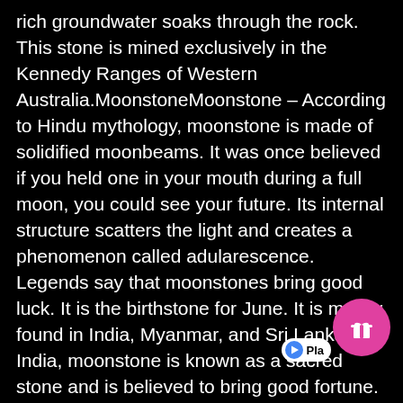rich groundwater soaks through the rock. This stone is mined exclusively in the Kennedy Ranges of Western Australia.MoonstoneMoonstone – According to Hindu mythology, moonstone is made of solidified moonbeams. It was once believed if you held one in your mouth during a full moon, you could see your future. Its internal structure scatters the light and creates a phenomenon called adularescence. Legends say that moonstones bring good luck. It is the birthstone for June. It is mainly found in India, Myanmar, and Sri Lanka. In India, moonstone is known as a sacred stone and is believed to bring good fortune. It is a highly prized gift for lovers as it arouses tender passion.
Mother of PearlMother-of-Pearl is simi in chemical composition, but unlike a pearl, which is the result of nacre secretions emitted to protect